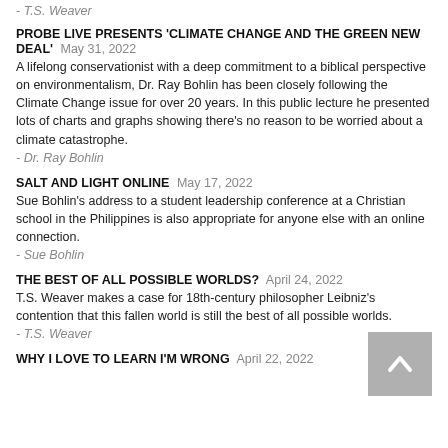- T.S. Weaver
PROBE LIVE PRESENTS 'CLIMATE CHANGE AND THE GREEN NEW DEAL'  May 31, 2022
A lifelong conservationist with a deep commitment to a biblical perspective on environmentalism, Dr. Ray Bohlin has been closely following the Climate Change issue for over 20 years. In this public lecture he presented lots of charts and graphs showing there's no reason to be worried about a climate catastrophe.
- Dr. Ray Bohlin
SALT AND LIGHT ONLINE  May 17, 2022
Sue Bohlin's address to a student leadership conference at a Christian school in the Philippines is also appropriate for anyone else with an online connection.
- Sue Bohlin
THE BEST OF ALL POSSIBLE WORLDS?  April 24, 2022
T.S. Weaver makes a case for 18th-century philosopher Leibniz's contention that this fallen world is still the best of all possible worlds.
- T.S. Weaver
WHY I LOVE TO LEARN I'M WRONG  April 22, 2022